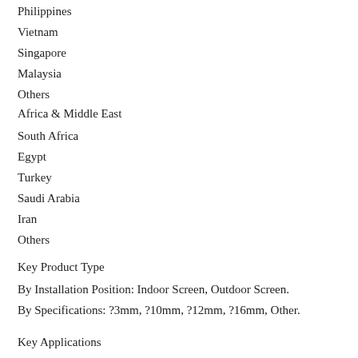Philippines
Vietnam
Singapore
Malaysia
Others
Africa & Middle East
South Africa
Egypt
Turkey
Saudi Arabia
Iran
Others
Key Product Type
By Installation Position: Indoor Screen, Outdoor Screen.
By Specifications: ?3mm, ?10mm, ?12mm, ?16mm, Other.
Key Applications